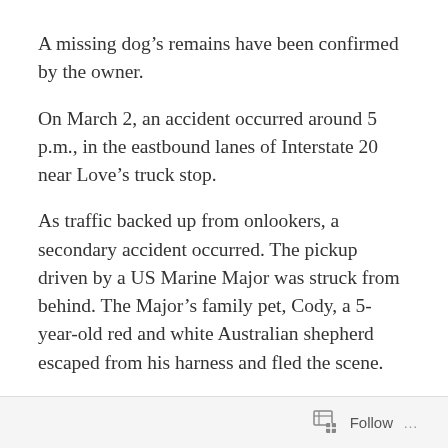A missing dog’s remains have been confirmed by the owner.
On March 2, an accident occurred around 5 p.m., in the eastbound lanes of Interstate 20 near Love’s truck stop.
As traffic backed up from onlookers, a secondary accident occurred. The pickup driven by a US Marine Major was struck from behind. The Major’s family pet, Cody, a 5-year-old red and white Australian shepherd escaped from his harness and fled the scene.
No injuries were reported as a result from the crash.
Since that day, the family and dozens of volunteers have
Follow …